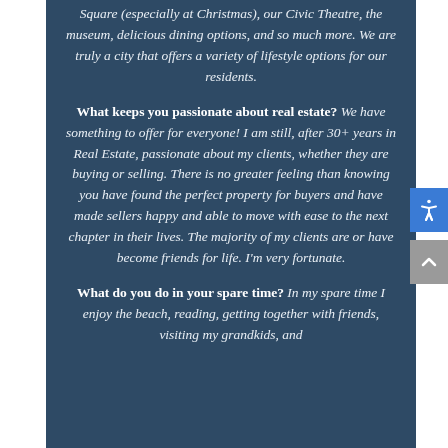Square (especially at Christmas), our Civic Theatre, the museum, delicious dining options, and so much more. We are truly a city that offers a variety of lifestyle options for our residents.
What keeps you passionate about real estate? We have something to offer for everyone! I am still, after 30+ years in Real Estate, passionate about my clients, whether they are buying or selling. There is no greater feeling than knowing you have found the perfect property for buyers and have made sellers happy and able to move with ease to the next chapter in their lives. The majority of my clients are or have become friends for life. I'm very fortunate.
What do you do in your spare time? In my spare time I enjoy the beach, reading, getting together with friends, visiting my grandkids, and